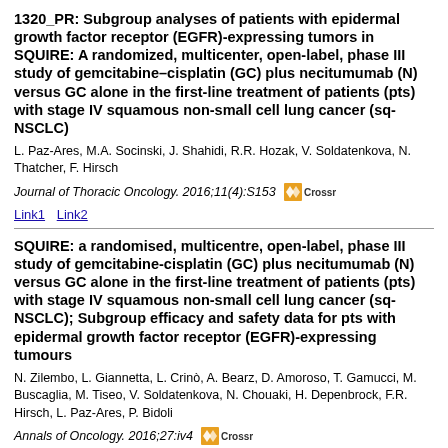1320_PR: Subgroup analyses of patients with epidermal growth factor receptor (EGFR)-expressing tumors in SQUIRE: A randomized, multicenter, open-label, phase III study of gemcitabine–cisplatin (GC) plus necitumumab (N) versus GC alone in the first-line treatment of patients (pts) with stage IV squamous non-small cell lung cancer (sq-NSCLC)
L. Paz-Ares, M.A. Socinski, J. Shahidi, R.R. Hozak, V. Soldatenkova, N. Thatcher, F. Hirsch
Journal of Thoracic Oncology. 2016;11(4):S153
Link1 Link2
SQUIRE: a randomised, multicentre, open-label, phase III study of gemcitabine-cisplatin (GC) plus necitumumab (N) versus GC alone in the first-line treatment of patients (pts) with stage IV squamous non-small cell lung cancer (sq-NSCLC); Subgroup efficacy and safety data for pts with epidermal growth factor receptor (EGFR)-expressing tumours
N. Zilembo, L. Giannetta, L. Crinò, A. Bearz, D. Amoroso, T. Gamucci, M. Buscaglia, M. Tiseo, V. Soldatenkova, N. Chouaki, H. Depenbrock, F.R. Hirsch, L. Paz-Ares, P. Bidoli
Annals of Oncology. 2016;27:iv4
Link1 Link2 Link3